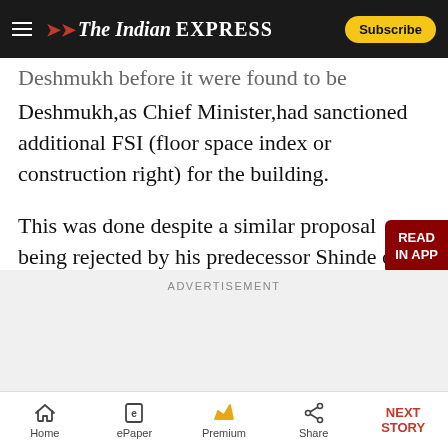The Indian Express — Subscribe
Deshmukh before it were found to be incorrect. Deshmukh,as Chief Minister,had sanctioned additional FSI (floor space index or construction right) for the building.
This was done despite a similar proposal being rejected by his predecessor Shinde on November 24,2003. “The grant of additional FSI gave a wrong message to the public that undue favour was being shown to Adarsh.”
ADVERTISEMENT
Home | ePaper | Premium | Share | NEXT STORY